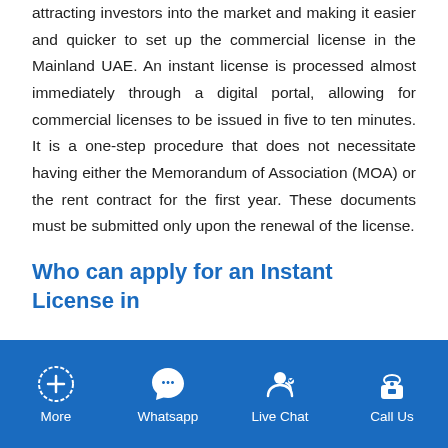attracting investors into the market and making it easier and quicker to set up the commercial license in the Mainland UAE. An instant license is processed almost immediately through a digital portal, allowing for commercial licenses to be issued in five to ten minutes. It is a one-step procedure that does not necessitate having either the Memorandum of Association (MOA) or the rent contract for the first year. These documents must be submitted only upon the renewal of the license.
Who can apply for an Instant License in